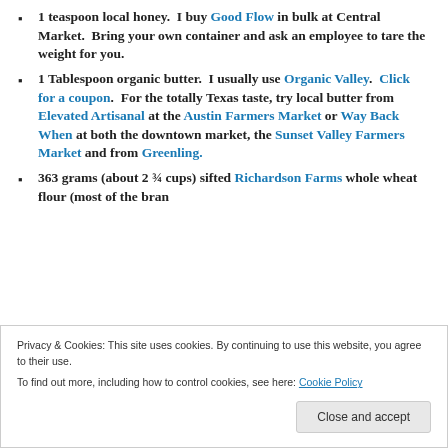1 teaspoon local honey. I buy Good Flow in bulk at Central Market. Bring your own container and ask an employee to tare the weight for you.
1 Tablespoon organic butter. I usually use Organic Valley. Click for a coupon. For the totally Texas taste, try local butter from Elevated Artisanal at the Austin Farmers Market or Way Back When at both the downtown market, the Sunset Valley Farmers Market and from Greenling.
363 grams (about 2 ¾ cups) sifted Richardson Farms whole wheat flour (most of the bran
Privacy & Cookies: This site uses cookies. By continuing to use this website, you agree to their use. To find out more, including how to control cookies, see here: Cookie Policy